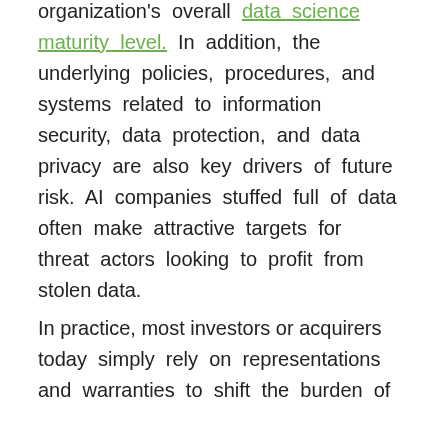organization's overall data science maturity level. In addition, the underlying policies, procedures, and systems related to information security, data protection, and data privacy are also key drivers of future risk. AI companies stuffed full of data often make attractive targets for threat actors looking to profit from stolen data.
In practice, most investors or acquirers today simply rely on representations and warranties to shift the burden of